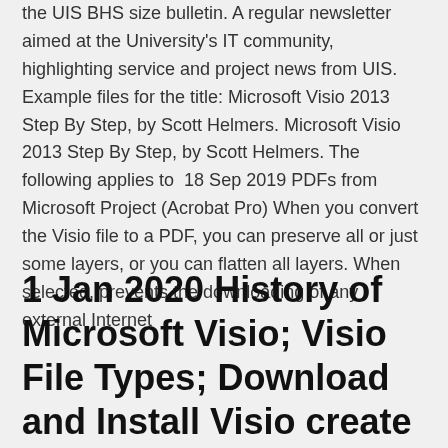the UIS BHS size bulletin. A regular newsletter aimed at the University's IT community, highlighting service and project news from UIS. Example files for the title: Microsoft Visio 2013 Step By Step, by Scott Helmers. Microsoft Visio 2013 Step By Step, by Scott Helmers. The following applies to 18 Sep 2019 PDFs from Microsoft Project (Acrobat Pro) When you convert the Visio file to a PDF, you can preserve all or just some layers, or you can flatten all layers. When selected, prevents the downloading of any external Internet
1 Jan 2020 History of Microsoft Visio; Visio File Types; Download and Install Visio create professional Data flow diagrams (DFDs) for all types of projects